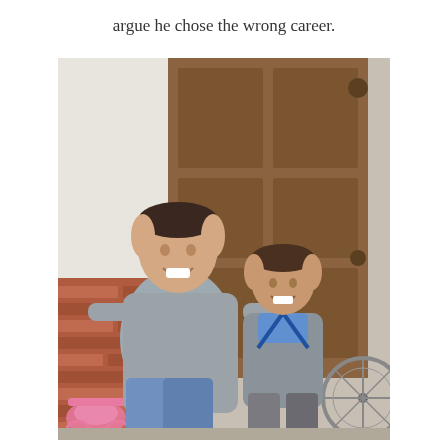argue he chose the wrong career.
[Figure (photo): A smiling adult man in a grey sweater crouching beside a young boy in a school uniform (grey V-neck sweater with blue stripe, light blue collared shirt), both posing in front of a wooden door. Pink bicycle and bicycle wheel visible on sides. Brick wall in background.]